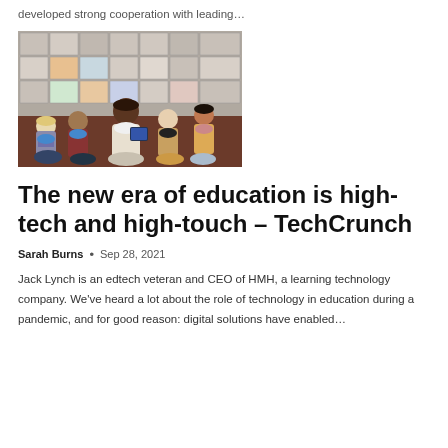developed strong cooperation with leading…
[Figure (photo): A teacher and young children sitting on the floor in a classroom, all wearing face masks. The teacher holds a tablet device.]
The new era of education is high-tech and high-touch – TechCrunch
Sarah Burns  •  Sep 28, 2021
Jack Lynch is an edtech veteran and CEO of HMH, a learning technology company. We've heard a lot about the role of technology in education during a pandemic, and for good reason: digital solutions have enabled…